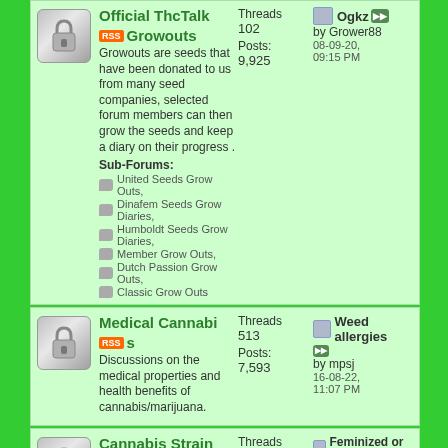Official ThcTalk Growouts - Threads: 102, Posts: 9,925. Growouts are seeds that have been donated to us from many seed companies, selected forum members can then grow the seeds and keep a diary on their progress. Sub-Forums: United Seeds Grow Outs, Dinafem Seeds Grow Diaries, Humboldt Seeds Grow Diaries, Member Grow Outs, Dutch Passion Grow Outs, Classic Grow Outs. Last post: Ogkz by Grower88 08-09-20, 09:15 PM
Medical Cannabis - Threads: 513, Posts: 7,593. Discussions on the medical properties and health benefits of cannabis/marijuana. Last post: Weed allergies by mpsj 16-08-22, 11:07 PM
Cannabis Strain se - Threads: 784, Posts: 7,347. Here you will find a very large strain base covering almost all cannabis, marijuana strains from around the world. Last post: Feminized or Automatic? by Stokes 22-08-22, 11:34 PM
Competitions, Sponsors, And Off Topics Threads